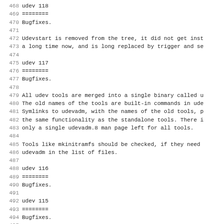468 udev 118
469 ========
470 Bugfixes.
471 
472 Udevstart is removed from the tree, it did not get inst
473 a long time now, and is long replaced by trigger and se
474 
475 udev 117
476 ========
477 Bugfixes.
478 
479 All udev tools are merged into a single binary called u
480 The old names of the tools are built-in commands in ude
481 Symlinks to udevadm, with the names of the old tools, p
482 the same functionality as the standalone tools. There i
483 only a single udevadm.8 man page left for all tools.
484 
485 Tools like mkinitramfs should be checked, if they need
486 udevadm in the list of files.
487 
488 udev 116
489 ========
490 Bugfixes.
491 
492 udev 115
493 ========
494 Bugfixes.
495 
496 The etc/udev/rules.d/ directory now contains a default
497 udev rules. This initial version is the result of a ru
498 of Fedora and openSUSE. For these both distros only a f
499 rules are left in their own file, named after the distr